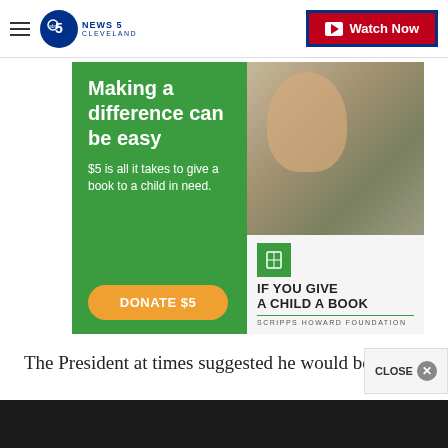NEWS 5 CLEVELAND | Watch Now
[Figure (infographic): Advertisement for 'If You Give a Child a Book' by Scripps Howard Foundation. Green left panel with white text: 'Making a difference can be easy', '$5 is all it takes to give a book to a child in need.', orange DONATE $5 button. Right panel shows photo of a smiling boy holding books, with book icon and text 'IF YOU GIVE A CHILD A BOOK' and 'SCRIPPS HOWARD FOUNDATION'.]
The President at times suggested he would be look
CLOSE